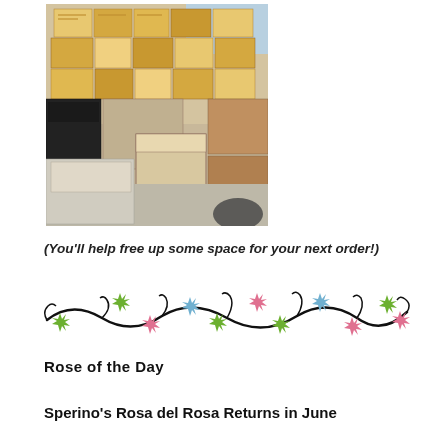[Figure (photo): Warehouse or storage room filled with stacked cardboard boxes and brown shipping boxes on shelves and the floor.]
(You'll help free up some space for your next order!)
[Figure (illustration): Decorative vine/floral divider banner with colorful star-shaped flowers in green, pink, and blue on black swirling vines.]
Rose of the Day
Sperino's Rosa del Rosa Returns in June